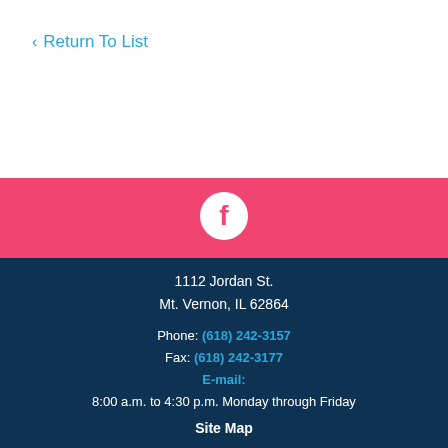< Return To List
[Figure (logo): Facebook icon white circle with f on pink background band]
1112 Jordan St.
Mt. Vernon, IL 62864
Phone: (618) 242-3157
Fax: (618) 242-3177
E-mail:
8:00 a.m. to 4:30 p.m. Monday through Friday
Site Map